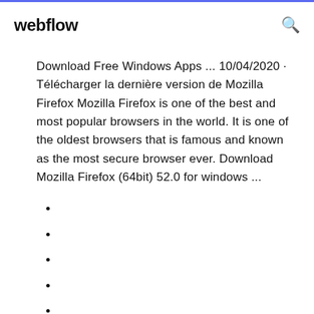webflow
Download Free Windows Apps ... 10/04/2020 · Télécharger la dernière version de Mozilla Firefox Mozilla Firefox is one of the best and most popular browsers in the world. It is one of the oldest browsers that is famous and known as the most secure browser ever. Download Mozilla Firefox (64bit) 52.0 for windows ...